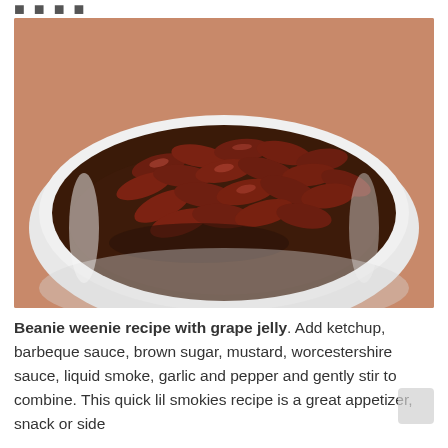[Figure (photo): A white bowl filled with mini sausages (little smokies) coated in a dark brown sauce, photographed on a tan/orange background.]
Beanie weenie recipe with grape jelly. Add ketchup, barbeque sauce, brown sugar, mustard, worcestershire sauce, liquid smoke, garlic and pepper and gently stir to combine. This quick lil smokies recipe is a great appetizer, snack or side